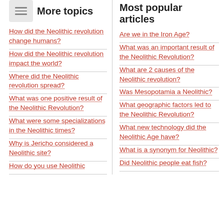More topics
How did the Neolithic revolution change humans?
How did the Neolithic revolution impact the world?
Where did the Neolithic revolution spread?
What was one positive result of the Neolithic Revolution?
What were some specializations in the Neolithic times?
Why is Jericho considered a Neolithic site?
How do you use Neolithic
Most popular articles
Are we in the Iron Age?
What was an important result of the Neolithic Revolution?
What are 2 causes of the Neolithic revolution?
Was Mesopotamia a Neolithic?
What geographic factors led to the Neolithic Revolution?
What new technology did the Neolithic Age have?
What is a synonym for Neolithic?
Did Neolithic people eat fish?